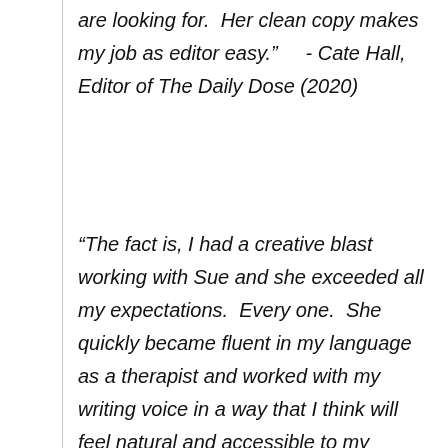are looking for.  Her clean copy makes my job as editor easy."    - Cate Hall, Editor of The Daily Dose (2020)
“The fact is, I had a creative blast working with Sue and she exceeded all my expectations.  Every one.  She quickly became fluent in my language as a therapist and worked with my writing voice in a way that I think will feel natural and accessible to my readers.  What more could I